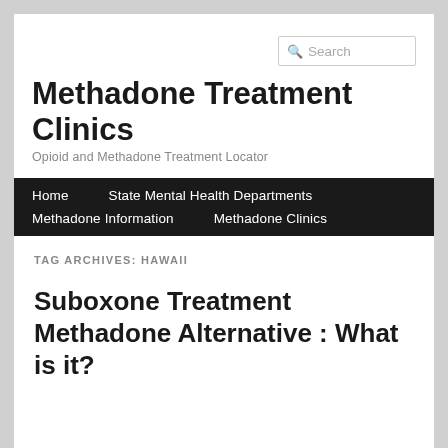Search
Methadone Treatment Clinics
Opioid and Methadone Treatment Locator
Home   State Mental Health Departments   Methadone Information   Methadone Clinics
TAG ARCHIVES: HAWAII
Suboxone Treatment Methadone Alternative : What is it?